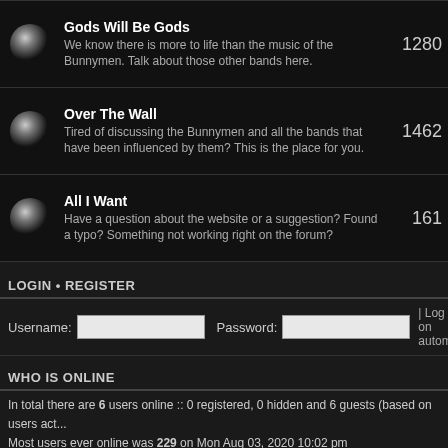| Forum | Posts |
| --- | --- |
| Gods Will Be Gods — We know there is more to life than the music of the Bunnymen. Talk about those other bands here. | 1280 |
| Over The Wall — Tired of discussing the Bunnymen and all the bands that have been influenced by them? This is the place for you. | 1462 |
| All I Want — Have a question about the website or a suggestion? Found a typo? Something not working right on the forum? | 161 |
LOGIN • REGISTER
Username: [input] Password: [input] | Log me on automa...
WHO IS ONLINE
In total there are 6 users online :: 0 registered, 0 hidden and 6 guests (based on users act...
Most users ever online was 229 on Mon Aug 03, 2020 10:02 pm
Registered users: No registered users
Legend: Administrators, Global moderators
STATISTICS
Total posts 88204 • Total topics 5052 • Total members 1057 • Our newest member all_my...
Board index  The team • Delete all bo...
[Figure (logo): PayPal Donate button]
Powered by phpBB® Forum Software © phpBB Group | ...